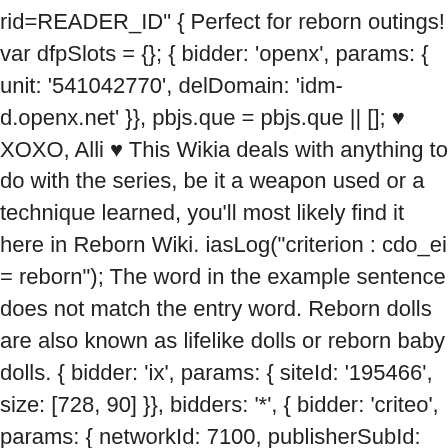rid=READER_ID" { Perfect for reborn outings! var dfpSlots = {}; { bidder: 'openx', params: { unit: '541042770', delDomain: 'idm-d.openx.net' }}, pbjs.que = pbjs.que || []; ♥ XOXO, Alli ♥ This Wikia deals with anything to do with the series, be it a weapon used or a technique learned, you'll most likely find it here in Reborn Wiki. iasLog("criterion : cdo_ei = reborn"); The word in the example sentence does not match the entry word. Reborn dolls are also known as lifelike dolls or reborn baby dolls. { bidder: 'ix', params: { siteId: '195466', size: [728, 90] }}, bidders: '*', { bidder: 'criteo', params: { networkId: 7100, publisherSubId: 'cdo_leftslot' }}, pid: '94' iasLog("criterion : cdo_pt = entry"); Shop Definition of a Reborn Mom T-Shirt created by All4Reborns. { bidder: 'ix', params: { siteId: '195464', size: [300, 600] }}, {code: 'ad_topslot_b', pubstack: {